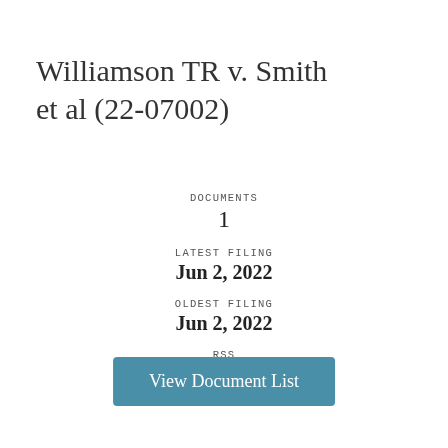Williamson TR v. Smith et al (22-07002)
DOCUMENTS
1
LATEST FILING
Jun 2, 2022
OLDEST FILING
Jun 2, 2022
RSS
View Document List